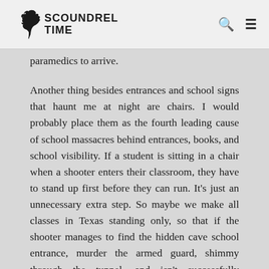SCOUNDREL TIME
paramedics to arrive.
Another thing besides entrances and school signs that haunt me at night are chairs. I would probably place them as the fourth leading cause of school massacres behind entrances, books, and school visibility. If a student is sitting in a chair when a shooter enters their classroom, they have to stand up first before they can run. It's just an unnecessary extra step. So maybe we make all classes in Texas standing only, so that if the shooter manages to find the hidden cave school entrance, murder the armed guard, shimmy through the tunnel, and isn't successfully distracted by the rodeo clown, then students already have a head start. Also, chairs become hazardous obstacles when